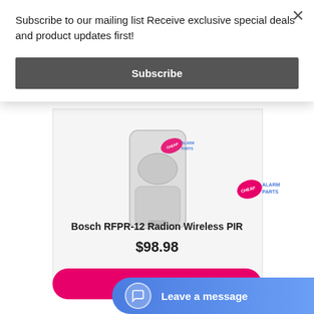Subscribe to our mailing list Receive exclusive special deals and product updates first!
Subscribe
[Figure (photo): Bosch RFPR-12 Radion Wireless PIR motion sensor device, white, with Cheap Alarm Parts watermark logo]
Bosch RFPR-12 Radion Wireless PIR
$98.98
[Figure (logo): Cheap Alarm Parts price tag logo with pink tag and blue text]
Leave a message